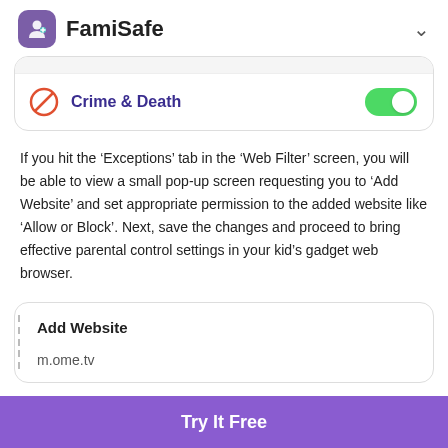FamiSafe
[Figure (screenshot): Mobile app screenshot showing 'Crime & Death' category with a red block icon and a green toggle switch turned on]
If you hit the ‘Exceptions’ tab in the ‘Web Filter’ screen, you will be able to view a small pop-up screen requesting you to ‘Add Website’ and set appropriate permission to the added website like ‘Allow or Block’. Next, save the changes and proceed to bring effective parental control settings in your kid’s gadget web browser.
[Figure (screenshot): Mobile app pop-up screenshot showing 'Add Website' dialog with text field containing 'm.ome.tv']
Try It Free